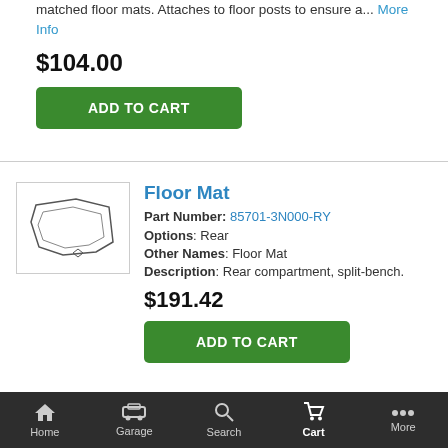matched floor mats. Attaches to floor posts to ensure a... More Info
$104.00
ADD TO CART
Floor Mat
Part Number: 85701-3N000-RY
Options: Rear
Other Names: Floor Mat
Description: Rear compartment, split-bench.
$191.42
ADD TO CART
Floor Mat
Part Number: 85710-39840
Home  Garage  Search  Cart  More